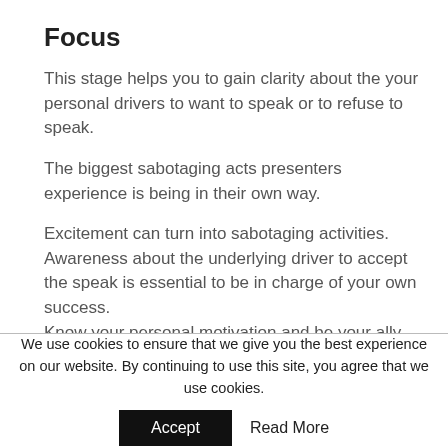Focus
This stage helps you to gain clarity about the your personal drivers to want to speak or to refuse to speak.
The biggest sabotaging acts presenters experience is being in their own way.
Excitement can turn into sabotaging activities. Awareness about the underlying driver to accept the speak is essential to be in charge of your own success.
Know your personal motivation and be your ally
We use cookies to ensure that we give you the best experience on our website. By continuing to use this site, you agree that we use cookies.